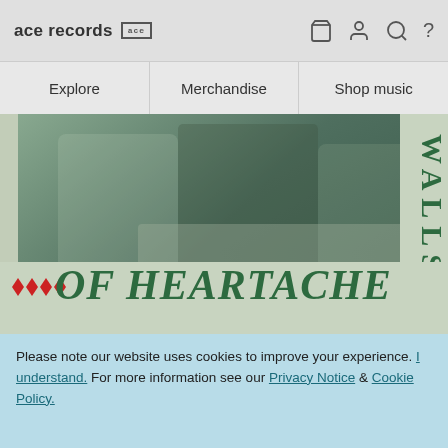ace records [ace logo]
Explore | Merchandise | Shop music
[Figure (illustration): Album cover art for 'Walls of Heartache' on Ace Records. Black and white photo of people sitting on a couch, tinted green/teal. Large vertical text 'WALLS' on the right side and large italic 'OF HEARTACHE' text at the bottom, both in green. Red diamond decorative elements on the bottom left. Beige/sage green background.]
Please note our website uses cookies to improve your experience. I understand. For more information see our Privacy Notice & Cookie Policy.